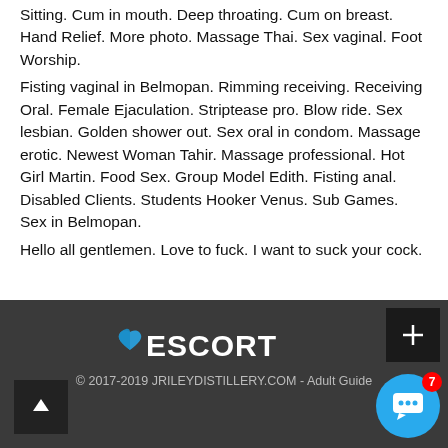Sitting. Cum in mouth. Deep throating. Cum on breast. Hand Relief. More photo. Massage Thai. Sex vaginal. Foot Worship.
Fisting vaginal in Belmopan. Rimming receiving. Receiving Oral. Female Ejaculation. Striptease pro. Blow ride. Sex lesbian. Golden shower out. Sex oral in condom. Massage erotic. Newest Woman Tahir. Massage professional. Hot Girl Martin. Food Sex. Group Model Edith. Fisting anal. Disabled Clients. Students Hooker Venus. Sub Games. Sex in Belmopan.
Hello all gentlemen. Love to fuck. I want to suck your cock.
© 2017-2019 JRILEYDISTILLERY.COM - Adult Guide